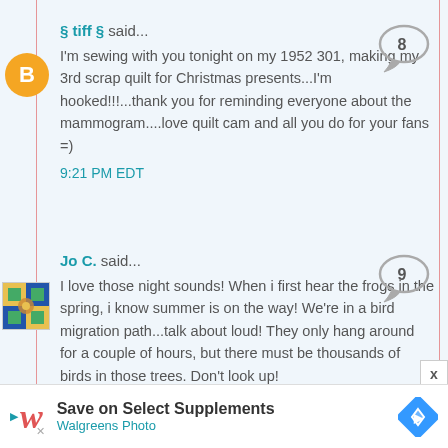§ tiff § said...
I'm sewing with you tonight on my 1952 301, making my 3rd scrap quilt for Christmas presents...I'm hooked!!!...thank you for reminding everyone about the mammogram....love quilt cam and all you do for your fans =)
9:21 PM EDT
Jo C. said...
I love those night sounds! When i first hear the frogs in the spring, i know summer is on the way! We're in a bird migration path...talk about loud! They only hang around for a couple of hours, but there must be thousands of birds in those trees. Don't look up!
9:31 PM EDT
[Figure (infographic): Advertisement bar: Walgreens - Save on Select Supplements, Walgreens Photo, with blue diamond navigation icon]